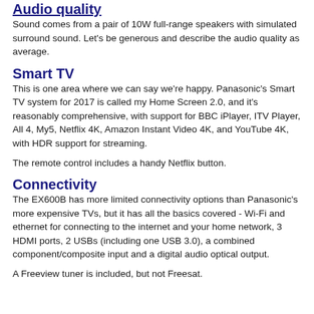Audio quality
Sound comes from a pair of 10W full-range speakers with simulated surround sound. Let's be generous and describe the audio quality as average.
Smart TV
This is one area where we can say we're happy. Panasonic's Smart TV system for 2017 is called my Home Screen 2.0, and it's reasonably comprehensive, with support for BBC iPlayer, ITV Player, All 4, My5, Netflix 4K, Amazon Instant Video 4K, and YouTube 4K, with HDR support for streaming.
The remote control includes a handy Netflix button.
Connectivity
The EX600B has more limited connectivity options than Panasonic's more expensive TVs, but it has all the basics covered - Wi-Fi and ethernet for connecting to the internet and your home network, 3 HDMI ports, 2 USBs (including one USB 3.0), a combined component/composite input and a digital audio optical output.
A Freeview tuner is included, but not Freesat.